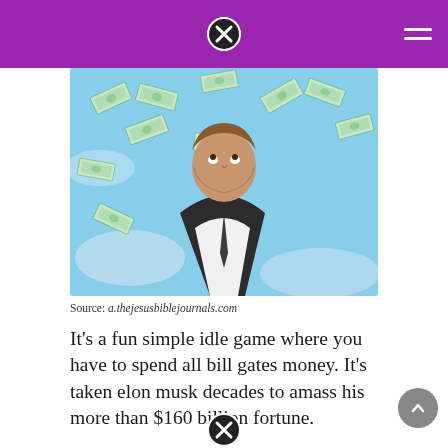[Figure (photo): Elon Musk looking upward surrounded by falling dollar bills against a blue sky background]
Source: a.thejesusbiblejournals.com
It's a fun simple idle game where you have to spend all bill gates money. It's taken elon musk decades to amass his more than $160 billion fortune.